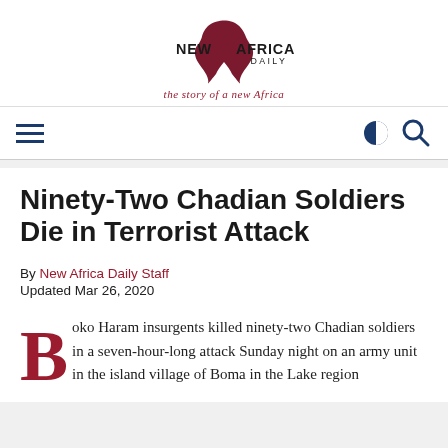[Figure (logo): New Africa Daily logo with Africa map silhouette in dark red and tagline 'the story of a new Africa']
Ninety-Two Chadian Soldiers Die in Terrorist Attack
By New Africa Daily Staff
Updated Mar 26, 2020
Boko Haram insurgents killed ninety-two Chadian soldiers in a seven-hour-long attack Sunday night on an army unit in the island village of Boma in the Lake region...